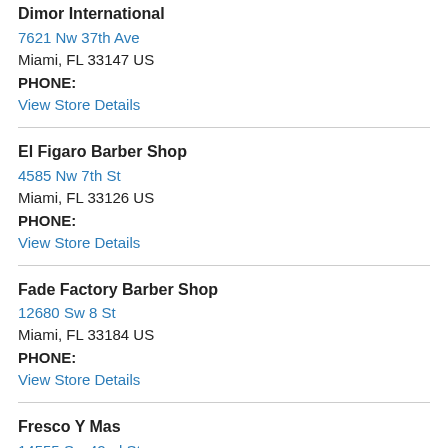Dimor International
7621 Nw 37th Ave
Miami, FL 33147 US
PHONE:
View Store Details
El Figaro Barber Shop
4585 Nw 7th St
Miami, FL 33126 US
PHONE:
View Store Details
Fade Factory Barber Shop
12680 Sw 8 St
Miami, FL 33184 US
PHONE:
View Store Details
Fresco Y Mas
14555 Sw 42nd St
Miami, FL 33175 US
PHONE: